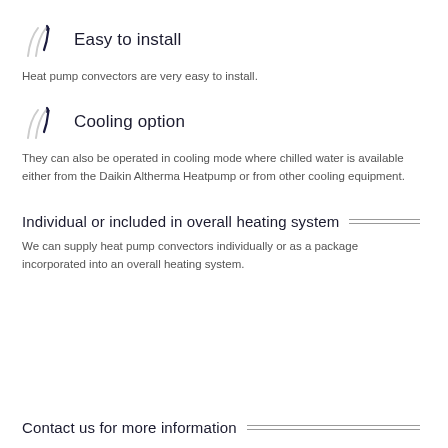Easy to install
Heat pump convectors are very easy to install.
Cooling option
They can also be operated in cooling mode where chilled water is available either from the Daikin Altherma Heatpump or from other cooling equipment.
Individual or included in overall heating system
We can supply heat pump convectors individually or as a package incorporated into an overall heating system.
Contact us for more information